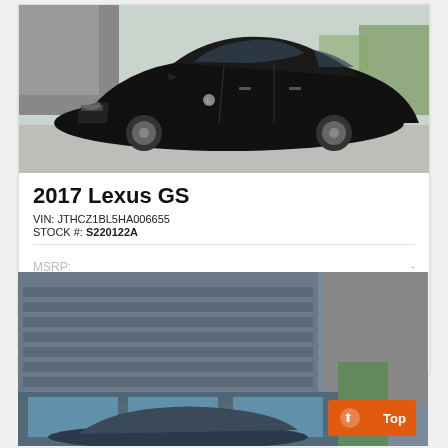[Figure (photo): Black 2017 Lexus GS sedan parked outdoors at a dealership, photographed at an angle showing front and driver side]
2017 Lexus GS
VIN: JTHCZ1BL5HA006655
STOCK #: S220122A
MSRP: -
Dealer Discount  Call Us
CLICK HERE  $40,294
[Figure (photo): Partial view of a car dealership building exterior with blue-grey garage doors and glass windows, a vehicle visible in the foreground, with an orange Top button overlay]